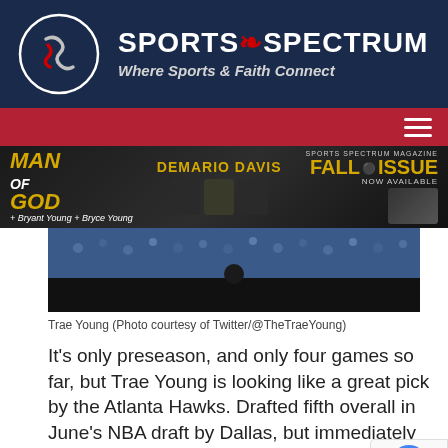[Figure (logo): Sports Spectrum logo with circular emblem and text 'SPORTS SPECTRUM - Where Sports & Faith Connect' on dark navy background]
[Figure (screenshot): Navigation bar with red background and hamburger menu icon]
[Figure (screenshot): Banner advertisement: Man of God featuring DeMario Davis with Bryant Young and Bryce Young, Sports Spectrum Magazine Fall Issue Now Available]
[Figure (photo): Trae Young action photo from sports event, crowd visible in background]
Trae Young (Photo courtesy of Twitter/@TheTraeYoung)
It's only preseason, and only four games so far, but Trae Young is looking like a great pick by the Atlanta Hawks. Drafted fifth overall in June's NBA draft by Dallas, but immediately traded to Atlanta, Young has been tabbed as the Hawks' starting point guard. He's